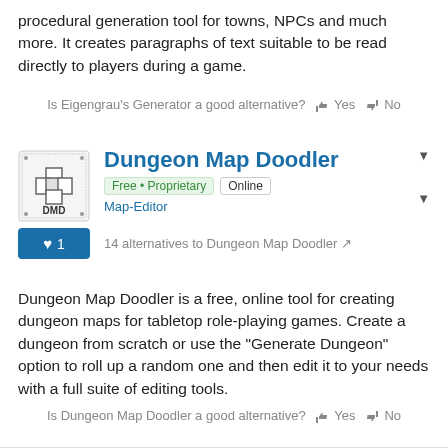procedural generation tool for towns, NPCs and much more. It creates paragraphs of text suitable to be read directly to players during a game.
Is Eigengrau's Generator a good alternative? Yes No
Dungeon Map Doodler
Free • Proprietary  Online
Map-Editor
♥ 1
14 alternatives to Dungeon Map Doodler
Dungeon Map Doodler is a free, online tool for creating dungeon maps for tabletop role-playing games. Create a dungeon from scratch or use the "Generate Dungeon" option to roll up a random one and then edit it to your needs with a full suite of editing tools.
Is Dungeon Map Doodler a good alternative? Yes No